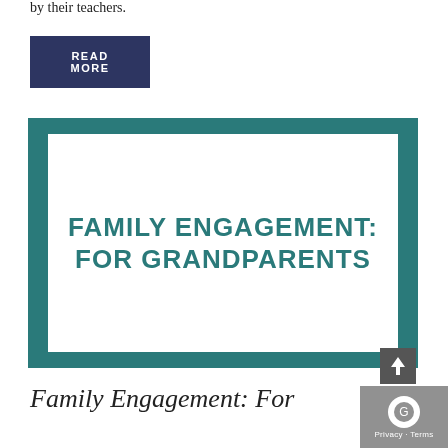by their teachers.
READ MORE
[Figure (illustration): Image with teal border and white interior displaying text 'FAMILY ENGAGEMENT: FOR GRANDPARENTS' in large bold teal lettering]
Family Engagement: For Grandparents